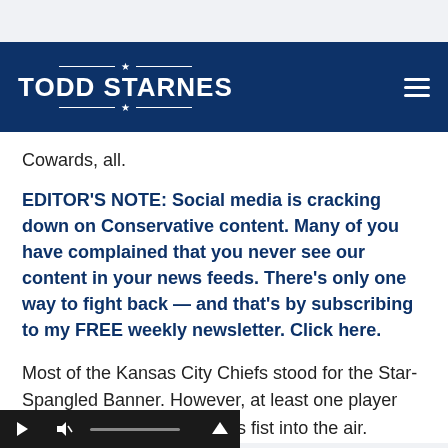[Figure (logo): Todd Starnes website logo — white text 'TODD STARNES' with decorative star and horizontal rules on dark navy background header]
Cowards, all.
EDITOR'S NOTE: Social media is cracking down on Conservative content. Many of you have complained that you never see our content in your news feeds. There's only one way to fight back — and that's by subscribing to my FREE weekly newsletter. Click here.
Most of the Kansas City Chiefs stood for the Star-Spangled Banner. However, at least one player was seen while thrusting his fist into the air.